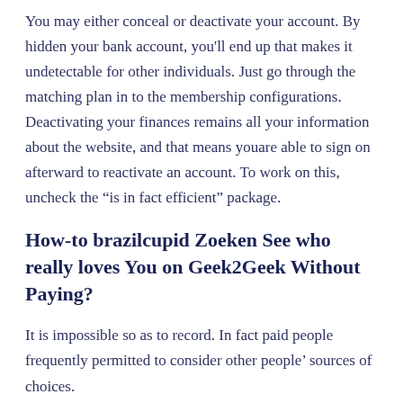You may either conceal or deactivate your account. By hidden your bank account, you'll end up that makes it undetectable for other individuals. Just go through the matching plan in to the membership configurations. Deactivating your finances remains all your information about the website, and that means youare able to sign on afterward to reactivate an account. To work on this, uncheck the “is in fact efficient” package.
How-to brazilcupid Zoeken See who really loves You on Geek2Geek Without Paying?
It is impossible so as to record. In fact paid people frequently permitted to consider other people’ sources of choices.